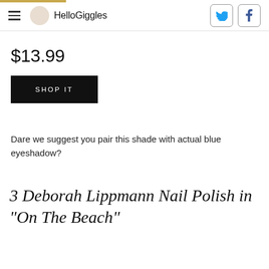HelloGiggles
$13.99
SHOP IT
Dare we suggest you pair this shade with actual blue eyeshadow?
3 Deborah Lippmann Nail Polish in “On The Beach”